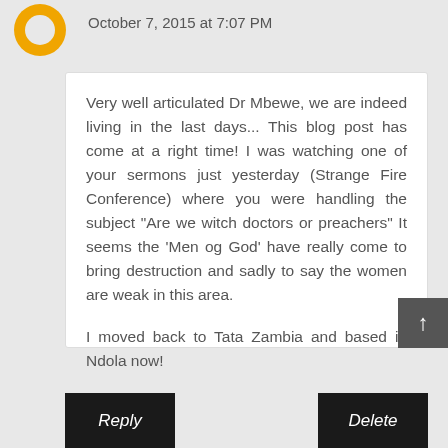October 7, 2015 at 7:07 PM
Very well articulated Dr Mbewe, we are indeed living in the last days... This blog post has come at a right time! I was watching one of your sermons just yesterday (Strange Fire Conference) where you were handling the subject "Are we witch doctors or preachers" It seems the 'Men og God' have really come to bring destruction and sadly to say the women are weak in this area.

I moved back to Tata Zambia and based in Ndola now!

Thanks